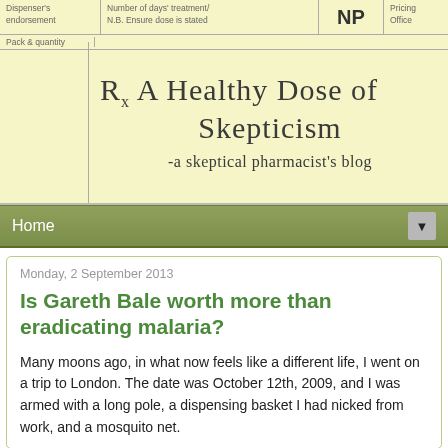[Figure (illustration): A prescription form (yellow/cream background) with form fields at top (Dispenser's endorsement, Number of days' treatment, N.B. Ensure dose is stated, NP, Pricing Office, Pack & quantity) and handwritten text reading 'Rx A Healthy Dose of Skepticism - a skeptical pharmacist's blog']
Home
Monday, 2 September 2013
Is Gareth Bale worth more than eradicating malaria?
Many moons ago, in what now feels like a different life, I went on a trip to London. The date was October 12th, 2009, and I was armed with a long pole, a dispensing basket I had nicked from work, and a mosquito net.